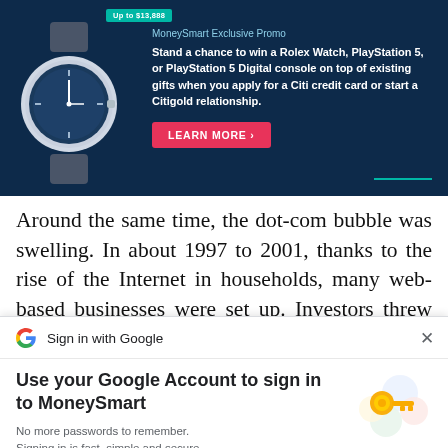[Figure (infographic): MoneySmart Exclusive Promo advertisement banner with dark navy background, showing a Rolex watch image on the left, promotional text about winning prizes, and a pink LEARN MORE button.]
Around the same time, the dot-com bubble was swelling. In about 1997 to 2001, thanks to the rise of the Internet in households, many web-based businesses were set up. Investors threw their
[Figure (screenshot): Google Sign-in dialog with Google G logo, 'Sign in with Google' text, close X button, heading 'Use your Google Account to sign in to MoneySmart', description text 'No more passwords to remember. Signing in is fast, simple and secure.', key illustration on the right, and a blue Continue button.]